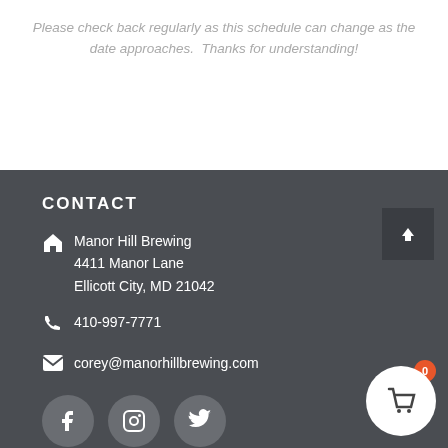Please check back regularly as this schedule can change as the date approaches.  Thanks for understanding!
CONTACT
Manor Hill Brewing
4411 Manor Lane
Ellicott City, MD 21042
410-997-7771
corey@manorhillbrewing.com
[Figure (other): Social media icons: Facebook, Instagram, Twitter circles]